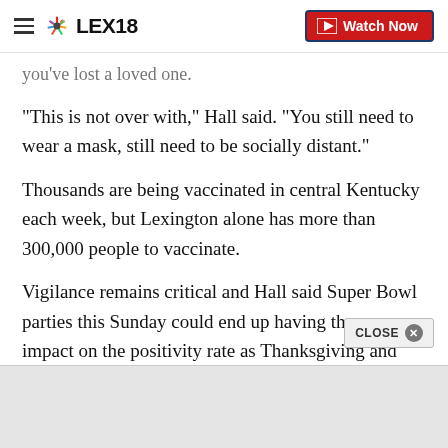LEX18 | Watch Now
you've lost a loved one.
“This is not over with,” Hall said. “You still need to wear a mask, still need to be socially distant.”
Thousands are being vaccinated in central Kentucky each week, but Lexington alone has more than 300,000 people to vaccinate.
Vigilance remains critical and Hall said Super Bowl parties this Sunday could end up having the same impact on the positivity rate as Thanksgiving and